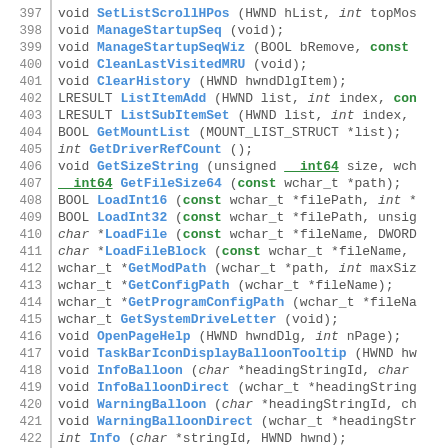[Figure (screenshot): Source code listing showing C++ function declarations, lines 397-426, with syntax highlighting: blue for function names, green for keywords like const and __int64, gray for line numbers.]